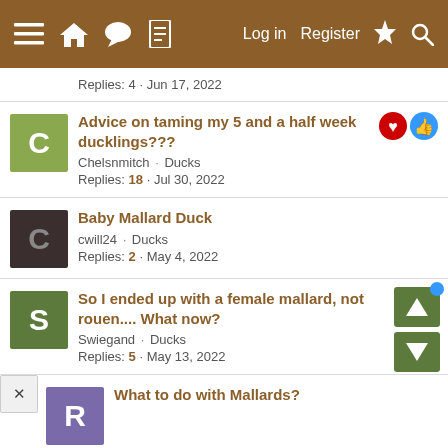≡ 🏠 💬 📄   Log in   Register   ⚡   🔍
Replies: 4 · Jun 17, 2022
Advice on taming my 5 and a half week ducklings???
Chelsnmitch · Ducks
Replies: 18 · Jul 30, 2022
Baby Mallard Duck
cwill24 · Ducks
Replies: 2 · May 4, 2022
So I ended up with a female mallard, not rouen.... What now?
Swiegand · Ducks
Replies: 5 · May 13, 2022
What to do with Mallards?
In-store shopping